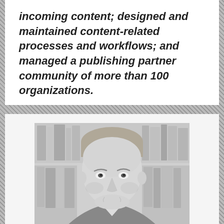incoming content; designed and maintained content-related processes and workflows; and managed a publishing partner community of more than 100 organizations.
[Figure (photo): Black-and-white portrait photograph of a middle-aged man smiling, with short light hair, wearing a suit, standing in front of a bookshelf.]